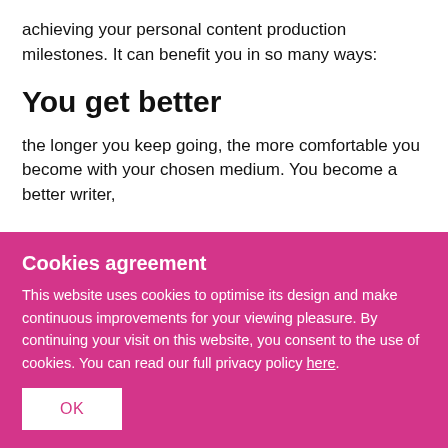achieving your personal content production milestones. It can benefit you in so many ways:
You get better
the longer you keep going, the more comfortable you become with your chosen medium. You become a better writer,
Cookies agreement
This website uses cookies to optimise its design and make continuous improvements for your viewing pleasure. By continuing your visit on this website, you consent to the use of cookies. You can read our full privacy policy here.
OK